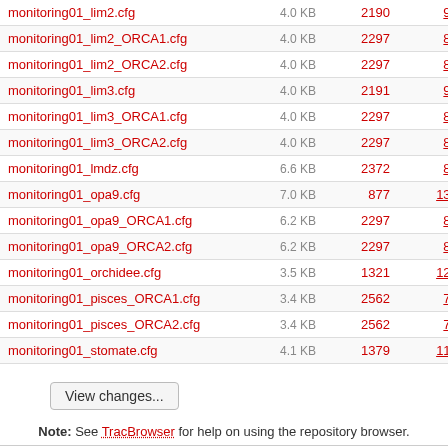| Name | Size | Rev | Age | Author |
| --- | --- | --- | --- | --- |
| monitoring01_lim2.cfg | 4.0 KB | 2190 | 9 years | omamo |
| monitoring01_lim2_ORCA1.cfg | 4.0 KB | 2297 | 8 years | omamc |
| monitoring01_lim2_ORCA2.cfg | 4.0 KB | 2297 | 8 years | omamc |
| monitoring01_lim3.cfg | 4.0 KB | 2191 | 9 years | omamc |
| monitoring01_lim3_ORCA1.cfg | 4.0 KB | 2297 | 8 years | omamc |
| monitoring01_lim3_ORCA2.cfg | 4.0 KB | 2297 | 8 years | omamc |
| monitoring01_lmdz.cfg | 6.6 KB | 2372 | 8 years | aclsce |
| monitoring01_opa9.cfg | 7.0 KB | 877 | 13 years | sdipsl |
| monitoring01_opa9_ORCA1.cfg | 6.2 KB | 2297 | 8 years | omamc |
| monitoring01_opa9_ORCA2.cfg | 6.2 KB | 2297 | 8 years | omamc |
| monitoring01_orchidee.cfg | 3.5 KB | 1321 | 12 years | mafoips |
| monitoring01_pisces_ORCA1.cfg | 3.4 KB | 2562 | 7 years | sdipsl |
| monitoring01_pisces_ORCA2.cfg | 3.4 KB | 2562 | 7 years | sdipsl |
| monitoring01_stomate.cfg | 4.1 KB | 1379 | 11 years | mmaips |
View changes...
Note: See TracBrowser for help on using the repository browser.
Powered by Trac 1.0.1 By Edgewall Software. | Visit the Trac open source project at http://trac.edgewall.com/